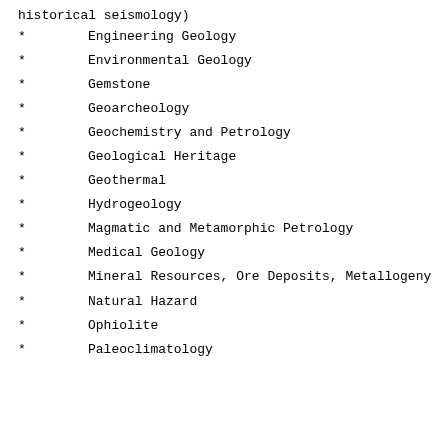historical seismology)
Engineering Geology
Environmental Geology
Gemstone
Geoarcheology
Geochemistry and Petrology
Geological Heritage
Geothermal
Hydrogeology
Magmatic and Metamorphic Petrology
Medical Geology
Mineral Resources, Ore Deposits, Metallogeny
Natural Hazard
Ophiolite
Paleoclimatology